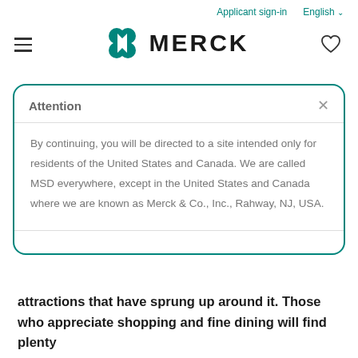Applicant sign-in  English
[Figure (logo): Merck logo with teal hourglass/flower icon and bold MERCK wordmark]
Attention
By continuing, you will be directed to a site intended only for residents of the United States and Canada. We are called MSD everywhere, except in the United States and Canada where we are known as Merck & Co., Inc., Rahway, NJ, USA.
attractions that have sprung up around it. Those who appreciate shopping and fine dining will find plenty